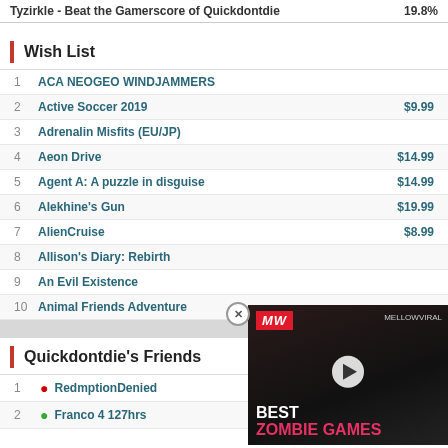Tyzirkle - Beat the Gamerscore of Quickdontdie    19.8%
Wish List
1  ACA NEOGEO WINDJAMMERS
2  Active Soccer 2019    $9.99
3  Adrenalin Misfits (EU/JP)
4  Aeon Drive    $14.99
5  Agent A: A puzzle in disguise    $14.99
6  Alekhine's Gun    $19.99
7  AlienCruise    $8.99
8  Allison's Diary: Rebirth
9  An Evil Existence
10  Animal Friends Adventure
[Figure (screenshot): Video advertisement for Best Zombie Games on MW (Mellowviral) with dark background and a play button overlay]
Quickdontdie's Friends
1  RedmptionDenied    5,901,765
2  Franco 4 127hrs    3,578,505